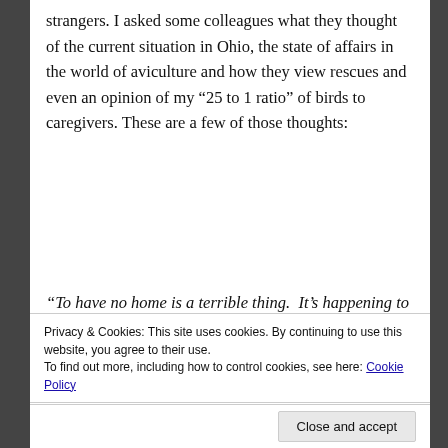strangers. I asked some colleagues what they thought of the current situation in Ohio, the state of affairs in the world of aviculture and how they view rescues and even an opinion of my “25 to 1 ratio” of birds to caregivers. These are a few of those thoughts:
“To have no home is a terrible thing.  It’s happening to birds quite a lot, exponentially actually.  Sometimes the only option left is a place with too many birds already.  Maybe the well-intended
Privacy & Cookies: This site uses cookies. By continuing to use this website, you agree to their use.
To find out more, including how to control cookies, see here: Cookie Policy
Close and accept
we should change the paradigm, and SOON.